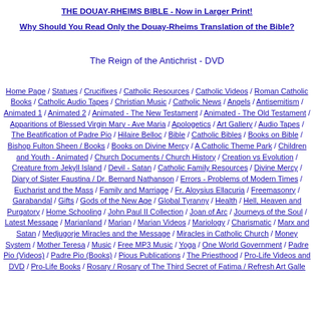THE DOUAY-RHEIMS BIBLE - Now in Larger Print!
Why Should You Read Only the Douay-Rheims Translation of the Bible?
The Reign of the Antichrist - DVD
Home Page / Statues / Crucifixes / Catholic Resources / Catholic Videos / Roman Catholic Books / Catholic Audio Tapes / Christian Music / Catholic News / Angels / Antisemitism / Animated 1 / Animated 2 / Animated - The New Testament / Animated - The Old Testament / Apparitions of Blessed Virgin Mary - Ave Maria / Apologetics / Art Gallery / Audio Tapes / The Beatification of Padre Pio / Hilaire Belloc / Bible / Catholic Bibles / Books on Bible / Bishop Fulton Sheen / Books / Books on Divine Mercy / A Catholic Theme Park / Children and Youth - Animated / Church Documents / Church History / Creation vs Evolution / Creature from Jekyll Island / Devil - Satan / Catholic Family Resources / Divine Mercy / Diary of Sister Faustina / Dr. Bernard Nathanson / Errors - Problems of Modern Times / Eucharist and the Mass / Family and Marriage / Fr. Aloysius Ellacuria / Freemasonry / Garabandal / Gifts / Gods of the New Age / Global Tyranny / Health / Hell, Heaven and Purgatory / Home Schooling / John Paul II Collection / Joan of Arc / Journeys of the Soul / Latest Message / Marianland / Marian / Marian Videos / Mariology / Charismatic / Marx and Satan / Medjugorje Miracles and the Message / Miracles in Catholic Church / Money System / Mother Teresa / Music / Free MP3 Music / Yoga / One World Government / Padre Pio (Videos) / Padre Pio (Books) / Pious Publications / The Priesthood / Pro-Life Videos and DVD / Pro-Life Books / Rosary / Rosary of The Third Secret of Fatima / Refresh Art Gallery